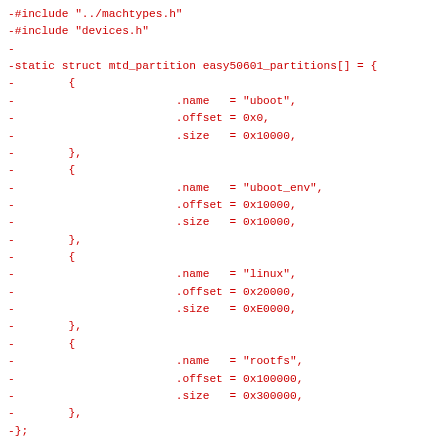-#include "../machtypes.h"
-#include "devices.h"
-
-static struct mtd_partition easy50601_partitions[] = {
-        {
-                        .name   = "uboot",
-                        .offset = 0x0,
-                        .size   = 0x10000,
-        },
-        {
-                        .name   = "uboot_env",
-                        .offset = 0x10000,
-                        .size   = 0x10000,
-        },
-        {
-                        .name   = "linux",
-                        .offset = 0x20000,
-                        .size   = 0xE0000,
-        },
-        {
-                        .name   = "rootfs",
-                        .offset = 0x100000,
-                        .size   = 0x300000,
-        },
-};